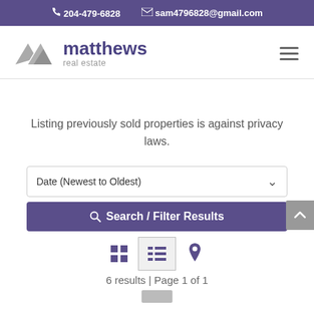204-479-6828   sam4796828@gmail.com
[Figure (logo): Matthews Real Estate logo with stylized mountain/chevron mark in grey and purple text]
Listing previously sold properties is against privacy laws.
Date (Newest to Oldest)
Search / Filter Results
6 results | Page 1 of 1